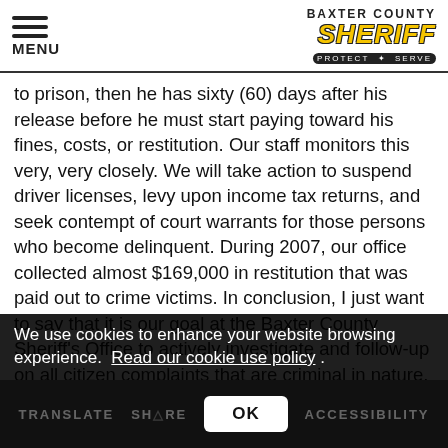MENU | BAXTER COUNTY SHERIFF PROTECT & SERVE
to prison, then he has sixty (60) days after his release before he must start paying toward his fines, costs, or restitution. Our staff monitors this very, very closely. We will take action to suspend driver licenses, levy upon income tax returns, and seek contempt of court warrants for those persons who become delinquent. During 2007, our office collected almost $169,000 in restitution that was paid out to crime victims. In conclusion, I just want to say that it is our goal at the Baxter County Sheriff's Office to actively investigate and follow-up on all citizen complaints that are criminal in nature, with the ultimate goal of identifying an offender against whom a criminal charge can be filed, in both felony and misdemeanor cases. Many times this goal is achieved. Unfortunately, many times it is not, whether due to lack of evidence, victims or witnesses failing to cooperate with the investigation, or other factors. Our investigators each have a
We use cookies to enhance your website browsing experience.  Read our cookie use policy .
TRANSLATE   SHARE   OK   ACCESSIBILITY